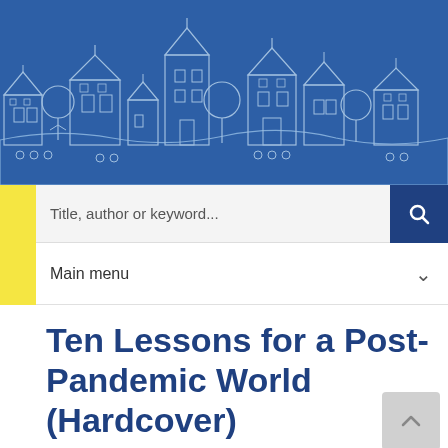[Figure (illustration): Blue banner header with white line-art illustration of a stylized village/town with houses, rooftops, trees, and chimneys in a folk-art style on a blue background.]
Title, author or keyword...
Main menu
Ten Lessons for a Post-Pandemic World (Hardcover)